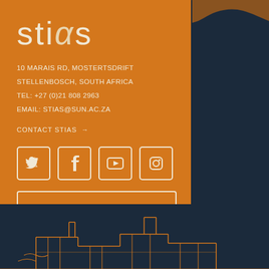stias
10 MARAIS RD, MOSTERTSDRIFT
STELLENBOSCH, SOUTH AFRICA
TEL: +27 (0)21 808 2963
EMAIL: STIAS@SUN.AC.ZA
CONTACT STIAS →
[Figure (infographic): Four social media icon buttons in rounded square borders: Twitter bird, Facebook f, YouTube play button, Instagram camera]
SUBSCRIBE TO NEWS →
[Figure (illustration): Line art illustration of a building/campus structure at the bottom of the page on dark background]